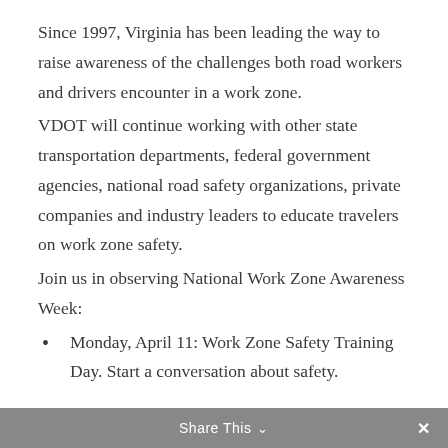Since 1997, Virginia has been leading the way to raise awareness of the challenges both road workers and drivers encounter in a work zone.
VDOT will continue working with other state transportation departments, federal government agencies, national road safety organizations, private companies and industry leaders to educate travelers on work zone safety.
Join us in observing National Work Zone Awareness Week:
Monday, April 11: Work Zone Safety Training Day. Start a conversation about safety.
Share This ∨  ×